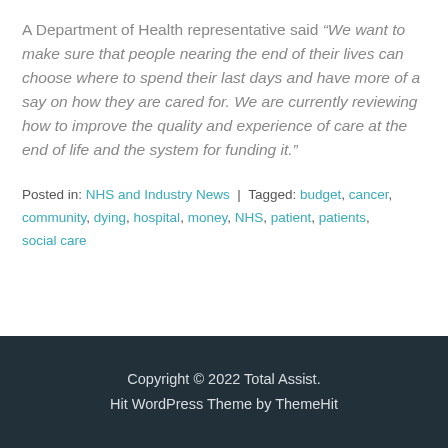A Department of Health representative said “We want to make sure that people nearing the end of their lives can choose where to spend their last days and have more of a say on how they are cared for. We are currently reviewing how to improve the quality and experience of care at the end of life and the system for funding it.”
Posted in: NHS and Industry News | Tagged: budget, cancer, community, dying, hospital, money, NHS, patient, patients, social care
Copyright © 2022 Total Assist. Hit WordPress Theme by ThemeHit